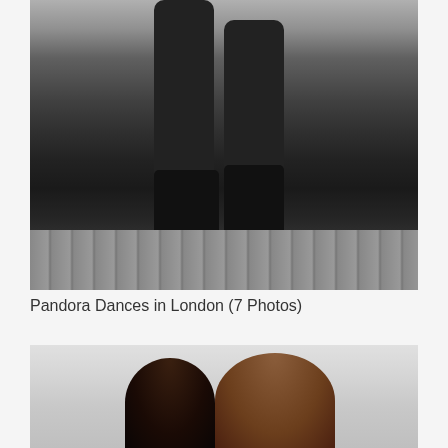[Figure (photo): Close-up photo of a person's legs wearing black patterned fishnet/geometric tights and tall black leather boots, walking on a cobblestone street. The upper body and face are cropped out of the frame.]
Pandora Dances in London (7 Photos)
[Figure (photo): Photo of two people partially visible from the shoulders up against a light grey background. The left figure has dark hair and the right figure has lighter brown hair.]